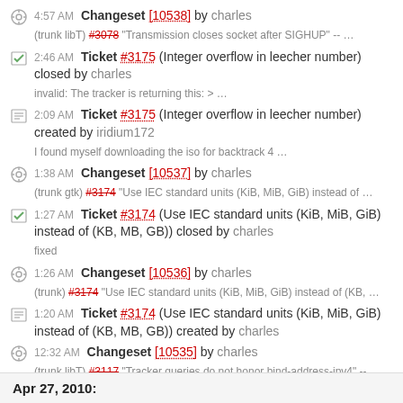4:57 AM Changeset [10538] by charles (trunk libT) #3078 "Transmission closes socket after SIGHUP" -- ...
2:46 AM Ticket #3175 (Integer overflow in leecher number) closed by charles invalid: The tracker is returning this: > ...
2:09 AM Ticket #3175 (Integer overflow in leecher number) created by iridium172 I found myself downloading the iso for backtrack 4 ...
1:38 AM Changeset [10537] by charles (trunk gtk) #3174 "Use IEC standard units (KiB, MiB, GiB) instead of ...
1:27 AM Ticket #3174 (Use IEC standard units (KiB, MiB, GiB) instead of (KB, MB, GB)) closed by charles fixed
1:26 AM Changeset [10536] by charles (trunk) #3174 "Use IEC standard units (KiB, MiB, GiB) instead of (KB, ...
1:20 AM Ticket #3174 (Use IEC standard units (KiB, MiB, GiB) instead of (KB, MB, GB)) created by charles
12:32 AM Changeset [10535] by charles (trunk libT) #3117 "Tracker queries do not honor bind-address-ipv4" -- ...
Apr 27, 2010: